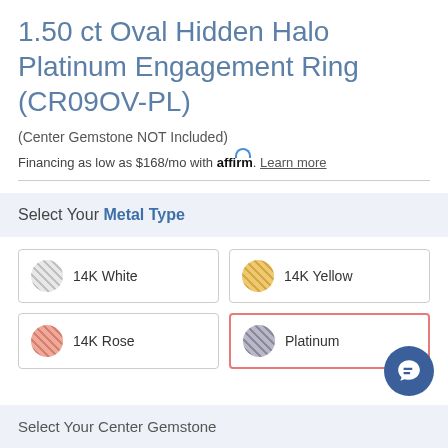1.50 ct Oval Hidden Halo Platinum Engagement Ring (CR09OV-PL)
(Center Gemstone NOT Included)
Financing as low as $168/mo with affirm. Learn more
Select Your Metal Type
14K White
14K Yellow
14K Rose
Platinum
Select Your Center Gemstone